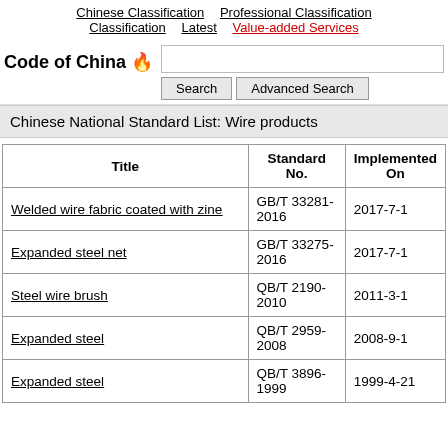Chinese Classification | Professional Classification | Classification | Latest | Value-added Services
Code of China
Chinese National Standard List: Wire products
| Title | Standard No. | Implemented On |
| --- | --- | --- |
| Welded wire fabric coated with zine | GB/T 33281-2016 | 2017-7-1 |
| Expanded steel net | GB/T 33275-2016 | 2017-7-1 |
| Steel wire brush | QB/T 2190-2010 | 2011-3-1 |
| Expanded steel | QB/T 2959-2008 | 2008-9-1 |
| Expanded steel | QB/T 3896-1999 | 1999-4-21 |